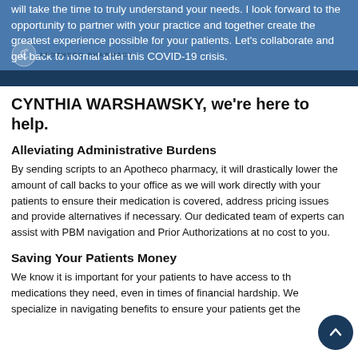will take the time to truly understand your needs. I look forward to the opportunity to partner with your practice and together create the greatest experience possible for your patients. Let's collaborate and get back to normal after this COVID-19 crisis.
[Figure (logo): Apotheco Pharmacy logo overlay on blue header banner]
CYNTHIA WARSHAWSKY, we're here to help.
Alleviating Administrative Burdens
By sending scripts to an Apotheco pharmacy, it will drastically lower the amount of call backs to your office as we will work directly with your patients to ensure their medication is covered, address pricing issues and provide alternatives if necessary. Our dedicated team of experts can assist with PBM navigation and Prior Authorizations at no cost to you.
Saving Your Patients Money
We know it is important for your patients to have access to the medications they need, even in times of financial hardship. We specialize in navigating benefits to ensure your patients get the